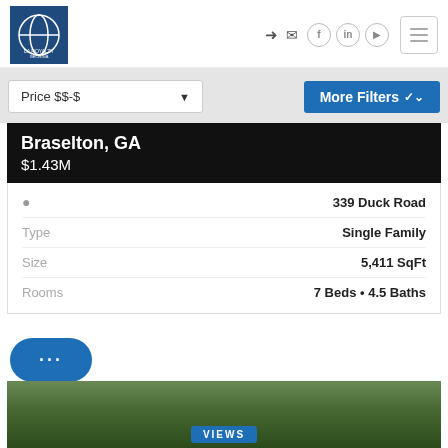LA Royalty Georgia - Logo and navigation header
Price $$-$
More Filters
Braselton, GA
$1.43M
| Label | Value |
| --- | --- |
|  | 339 Duck Road |
| Type | Single Family |
| Size | 5,411 SqFt |
| Rooms | 7 Beds • 4.5 Baths |
[Figure (photo): Bottom strip showing trees/nature photo with VIEWS button]